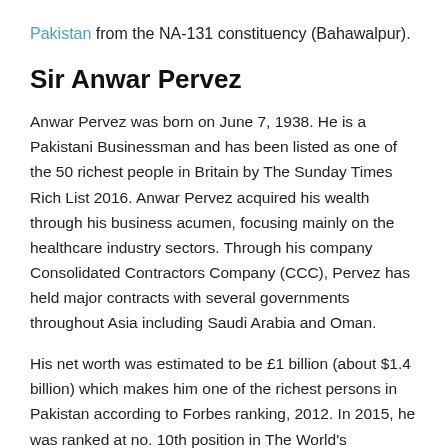Pakistan from the NA-131 constituency (Bahawalpur).
Sir Anwar Pervez
Anwar Pervez was born on June 7, 1938. He is a Pakistani Businessman and has been listed as one of the 50 richest people in Britain by The Sunday Times Rich List 2016. Anwar Pervez acquired his wealth through his business acumen, focusing mainly on the healthcare industry sectors. Through his company Consolidated Contractors Company (CCC), Pervez has held major contracts with several governments throughout Asia including Saudi Arabia and Oman.
His net worth was estimated to be £1 billion (about $1.4 billion) which makes him one of the richest persons in Pakistan according to Forbes ranking, 2012. In 2015, he was ranked at no. 10th position in The World's Billionaires list published by Forbes magazine with a net worth of US$2.5